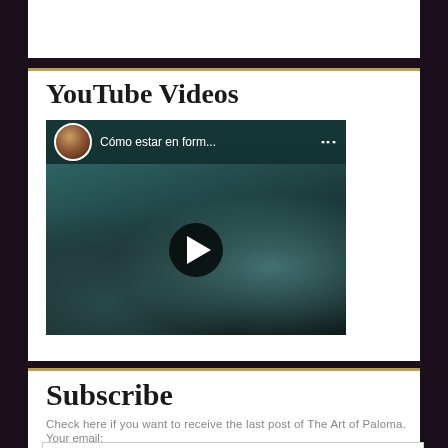YouTube Videos
[Figure (screenshot): YouTube video thumbnail showing a gym workout scene with a woman doing exercises. A circular avatar of a woman appears in the top-left corner with the video title 'Cómo estar en form...' displayed. A play button is centered on the video.]
Subscribe
Check here if you want to receive the last post of The Art of Paloma.
Your email:
Enter email address